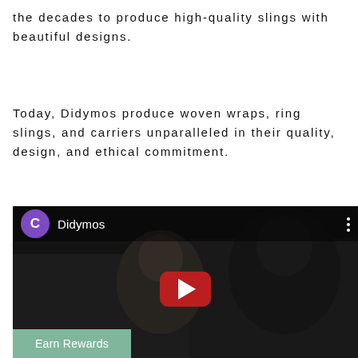the decades to produce high-quality slings with beautiful designs.
Today, Didymos produce woven wraps, ring slings, and carriers unparalleled in their quality, design, and ethical commitment.
[Figure (screenshot): Embedded YouTube video player showing two women in a dark room. The video has a YouTube play button in the center. The top bar shows a purple channel icon with the letter C and the channel name 'Didymos'. A green 'Earn Rewards' button overlay is visible at the bottom left.]